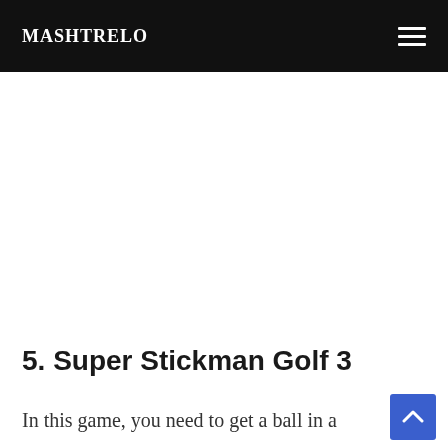MASHTRELO
[Figure (other): Advertisement / empty white space area below header]
5. Super Stickman Golf 3
In this game, you need to get a ball in a